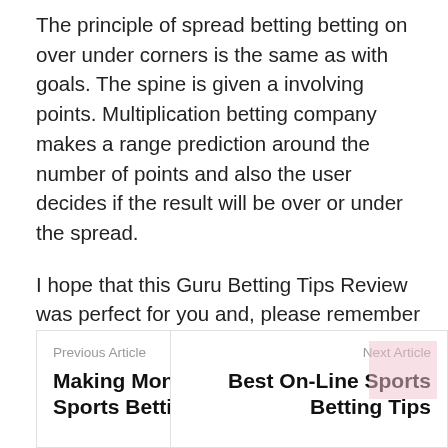The principle of spread betting betting on over under corners is the same as with goals. The spine is given a involving points. Multiplication betting company makes a range prediction around the number of points and also the user decides if the result will be over or under the spread.
I hope that this Guru Betting Tips Review was perfect for you and, please remember – Betting is not about luck – the professional know this which fact indicates they win more and more!
Previous Article
Making Money Sports Betting
Next Article
Best On-Line Sports Betting Tips